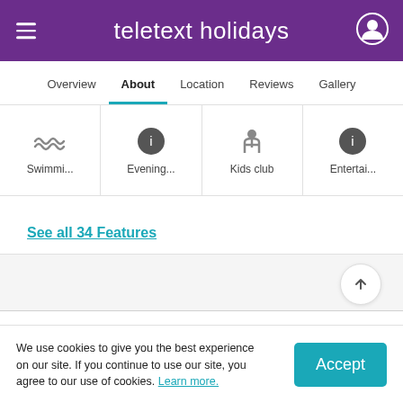teletext holidays
[Figure (screenshot): Navigation tabs: Overview, About (active/selected with teal underline), Location, Reviews, Gallery]
[Figure (infographic): Four feature tiles with icons: Swimmi..., Evening..., Kids club, Entertai...]
See all 34 Features
We use cookies to give you the best experience on our site. If you continue to use our site, you agree to our use of cookies. Learn more.